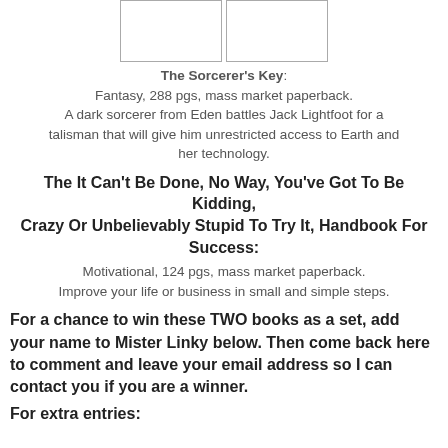[Figure (illustration): Two book cover placeholder images side by side, shown as white rectangles with gray borders]
The Sorcerer's Key: Fantasy, 288 pgs, mass market paperback. A dark sorcerer from Eden battles Jack Lightfoot for a talisman that will give him unrestricted access to Earth and her technology.
The It Can't Be Done, No Way, You've Got To Be Kidding, Crazy Or Unbelievably Stupid To Try It, Handbook For Success:
Motivational, 124 pgs, mass market paperback. Improve your life or business in small and simple steps.
For a chance to win these TWO books as a set, add your name to Mister Linky below. Then come back here to comment and leave your email address so I can contact you if you are a winner.
For extra entries: